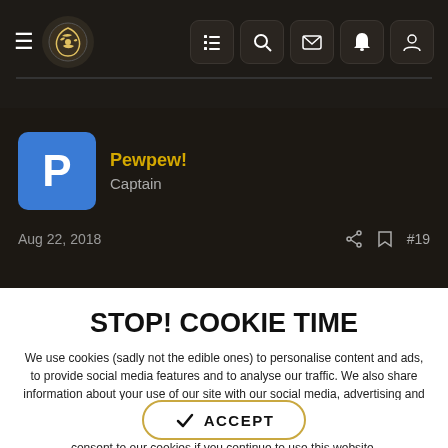Forum navigation bar with logo and icons
Pewpew! Captain
Aug 22, 2018 #19
STOP! COOKIE TIME
We use cookies (sadly not the edible ones) to personalise content and ads, to provide social media features and to analyse our traffic. We also share information about your use of our site with our social media, advertising and analytics partners who may combine it with other information that you've provided to them or that they've collected from your use of their services. You consent to our cookies if you continue to use this website.
ACCEPT